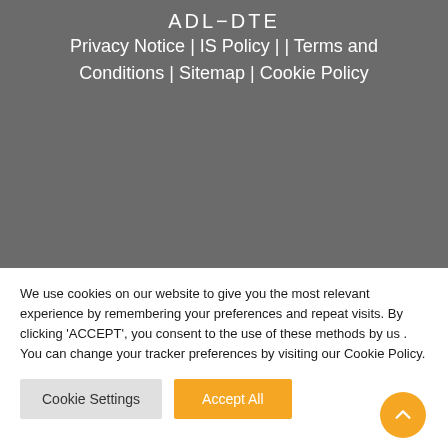ADL-DTE
Privacy Notice | IS Policy | | Terms and Conditions | Sitemap | Cookie Policy
We use cookies on our website to give you the most relevant experience by remembering your preferences and repeat visits. By clicking 'ACCEPT', you consent to the use of these methods by us . You can change your tracker preferences by visiting our Cookie Policy.
Cookie Settings | Accept All